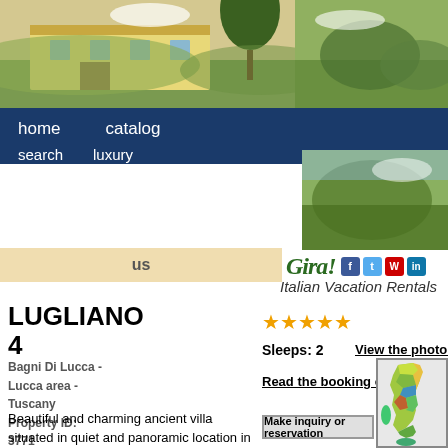[Figure (photo): Header photo of an Italian villa with trees and landscape, split into two sections]
home   catalog
search   luxury
us
[Figure (logo): Gira! Italian Vacation Rentals logo with social media icons (Facebook, Twitter, WordPress, LinkedIn)]
LUGLIANO 4
★★★★★
Sleeps: 2
View the photo gallery
Bagni Di Lucca - Lucca area - Tuscany
Property ID: 3771
Read the booking conditions
[Figure (map): Map of Italy showing regions in different colors]
Make inquiry or reservation
Beautiful and charming ancient villa situated in quiet and panoramic location in the hills surrounding Lucca. This property has been recently restored with its ancient architectural features preserved and converted into 4 appealing apartments (one of which occupied by the property owners) offering tastefully furnished interiors that allow their guests a
- Washing machine
- 1 bedroom
- 1 bath
- Dishwasher
- VCR/DVD
- Freezer
See approximate location